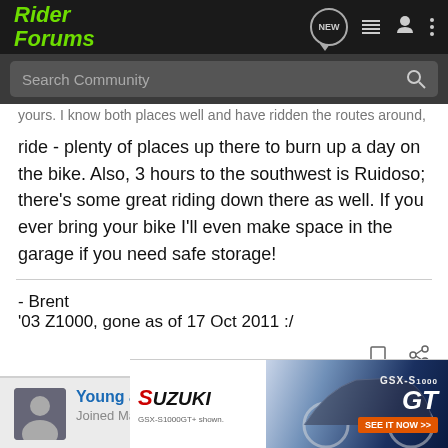Rider Forums
...yours. I know both places well and have ridden the roads around, and it's a ride - plenty of places up there to burn up a day on the bike. Also, 3 hours to the southwest is Ruidoso; there's some great riding down there as well. If you ever bring your bike I'll even make space in the garage if you need safe storage!
- Brent
'03 Z1000, gone as of 17 Oct 2011 :/
Young at Heart · Registered
Joined Mar 11, 2009 · 366 Posts
#6 · Oct
[Figure (advertisement): Suzuki GSX-S1000GT advertisement banner with motorcycle image and 'SEE IT NOW' button]